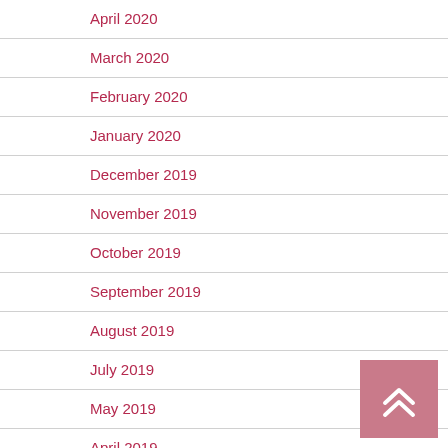April 2020
March 2020
February 2020
January 2020
December 2019
November 2019
October 2019
September 2019
August 2019
July 2019
May 2019
April 2019
[Figure (other): Back to top button with double chevron up arrow icon]